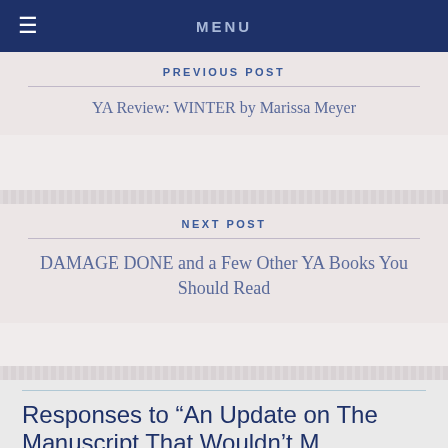MENU
PREVIOUS POST
YA Review: WINTER by Marissa Meyer
NEXT POST
DAMAGE DONE and a Few Other YA Books You Should Read
Responses to “An Update on The Manuscrint That Wouldn’t M…